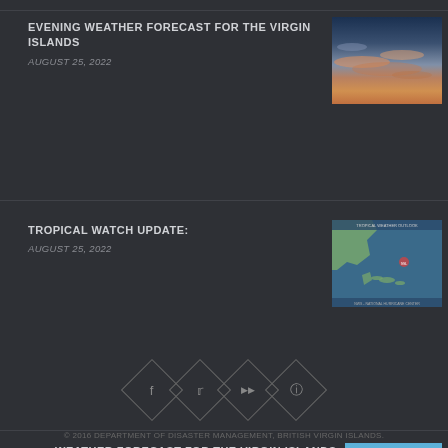EVENING WEATHER FORECAST FOR THE VIRGIN ISLANDS
AUGUST 25, 2022
[Figure (photo): Sky with orange and blue clouds at sunset]
TROPICAL WATCH UPDATE:
AUGUST 25, 2022
[Figure (map): Tropical weather map of the Atlantic/Caribbean showing storm track]
WEATHER FORECAST FOR THE VIRGIN ISLANDS
AUGUST 25, 2022
[Figure (photo): BVI boardwalk with colorful BVI letters overlay]
© 2016 DEPARTMENT OF DISASTER MANAGEMENT, BRITISH VIRGIN ISLANDS.